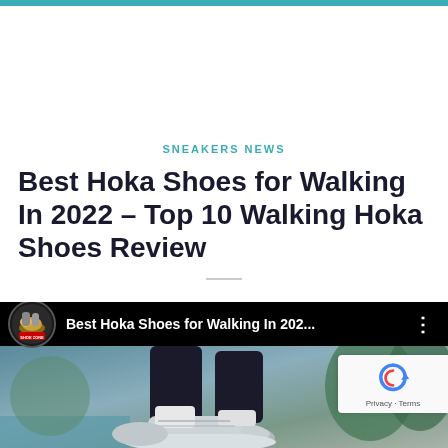SNEAKERS NEWS
Best Hoka Shoes for Walking In 2022 – Top 10 Walking Hoka Shoes Review
[Figure (screenshot): YouTube video thumbnail showing 'Best Hoka Shoes for Walking In 202...' with a channel logo (Shoe Zone) on a black bar, and a photo of legs wearing gray Hoka walking shoes.]